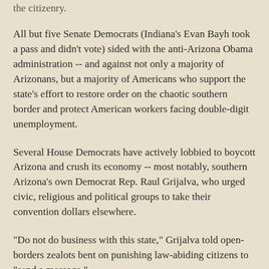the citizenry.
All but five Senate Democrats (Indiana's Evan Bayh took a pass and didn't vote) sided with the anti-Arizona Obama administration -- and against not only a majority of Arizonans, but a majority of Americans who support the state's effort to restore order on the chaotic southern border and protect American workers facing double-digit unemployment.
Several House Democrats have actively lobbied to boycott Arizona and crush its economy -- most notably, southern Arizona's own Democrat Rep. Raul Grijalva, who urged civic, religious and political groups to take their convention dollars elsewhere.
"Do not do business with this state," Grijalva told open-borders zealots bent on punishing law-abiding citizens to "send a message."